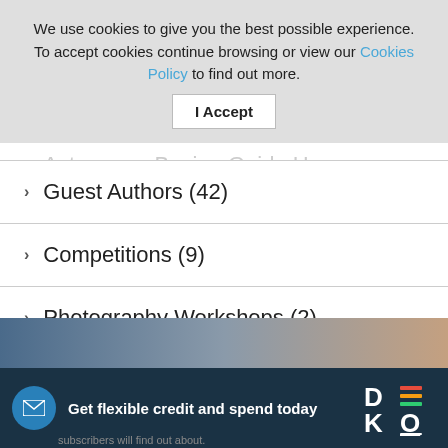We use cookies to give you the best possible experience. To accept cookies continue browsing or view our Cookies Policy to find out more.
I Accept
Astronomy Buying Guide H...
Guest Authors (42)
Competitions (9)
Photography Workshops (2)
[Figure (photo): Twilight/dusk sky photograph used as background image]
Get flexible credit and spend today
subscribers will find out about.